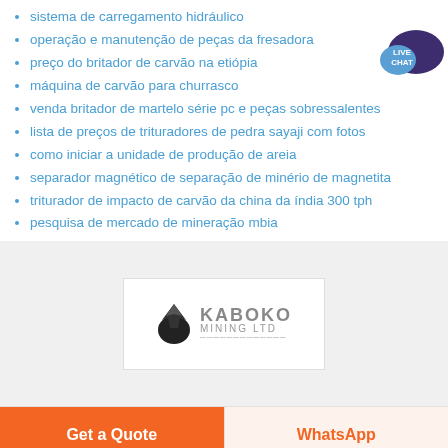sistema de carregamento hidráulico
operação e manutenção de peças da fresadora
preço do britador de carvão na etiópia
máquina de carvão para churrasco
venda britador de martelo série pc e peças sobressalentes
lista de preços de trituradores de pedra sayaji com fotos
como iniciar a unidade de produção de areia
separador magnético de separação de minério de magnetita
triturador de impacto de carvão da china da índia 300 tph
pesquisa de mercado de mineração mbia
[Figure (logo): Kaboko Mining Ltd logo with a black rock/gem icon and grey text]
Get a Quote   WhatsApp